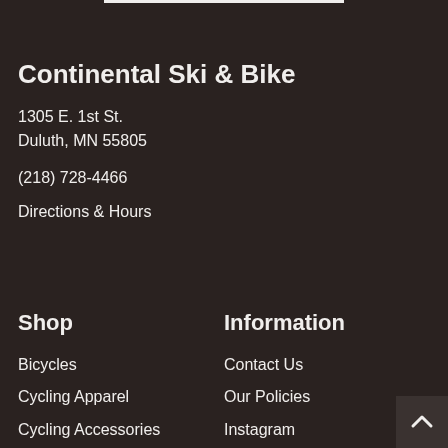Continental Ski & Bike
1305 E. 1st St.
Duluth, MN 55805
(218) 728-4466
Directions & Hours
Shop
Information
Bicycles
Cycling Apparel
Cycling Accessories
Bike Components
Contact Us
Our Policies
Instagram
Facebook